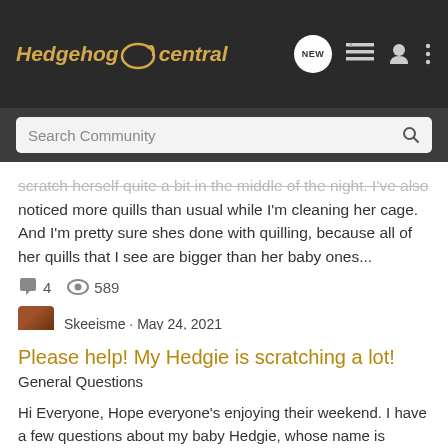Hedgehog Central
Search Community
scratch herself quite a bit in the middle of the night. I've also noticed more quills than usual while I'm cleaning her cage. And I'm pretty sure shes done with quilling, because all of her quills that I see are bigger than her baby ones...
4   589   Skeeisme · May 24, 2021
mites
quill loss
raw skin
stressed
Please help! My Hedgie is scratching a lot!
General Questions
Hi Everyone, Hope everyone's enjoying their weekend. I have a few questions about my baby Hedgie, whose name is Spike. He's the first hedgehog I've owned, so I'm still inexperienced. However, some fast facts about Spike are